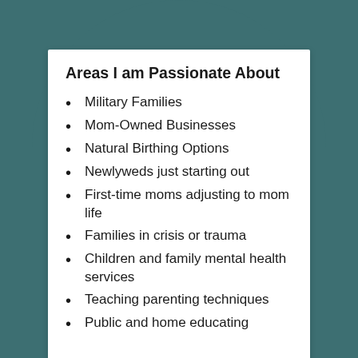Areas I am Passionate About
Military Families
Mom-Owned Businesses
Natural Birthing Options
Newlyweds just starting out
First-time moms adjusting to mom life
Families in crisis or trauma
Children and family mental health services
Teaching parenting techniques
Public and home educating